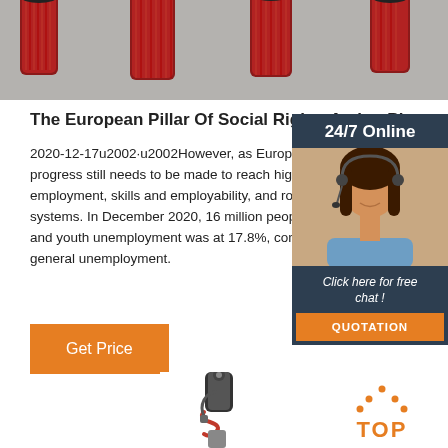[Figure (photo): Red cylindrical automotive parts (shock absorber components) laid on a grey surface, viewed from above]
The European Pillar Of Social Rights Action Plan
2020-12-17u2002·u2002However, as Europe enters progress still needs to be made to reach high levels employment, skills and employability, and robust so systems. In December 2020, 16 million people were and youth unemployment was at 17.8%, considerably general unemployment.
[Figure (photo): Customer service representative woman with headset smiling, inside a dark blue sidebar with '24/7 Online' header and 'Click here for free chat!' text and QUOTATION button]
[Figure (other): Orange 'Get Price' button]
[Figure (photo): Shock absorber / coilover component, black and red, partially visible at bottom of page]
[Figure (logo): Orange TOP logo with dots forming a triangle above the text]